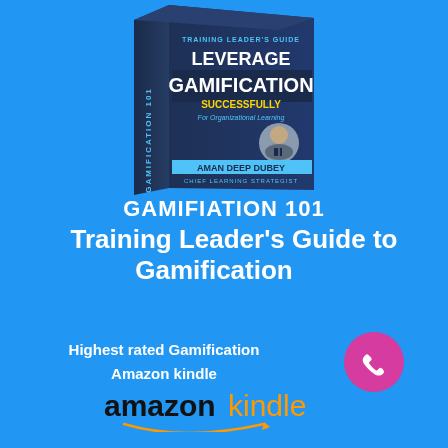[Figure (photo): Book cover of 'Leverage Gamification Successfully For Organizational Learning - Training Leader's Guide' by Aman Deep Dubey, Chief Learning Strategist, shown as a 3D book with dark navy cover, teal and white title text, and author photo.]
GAMIFIATION 101
Training Leader's Guide to Gamification
Highest rated Gamification on Amazon kindle
[Figure (logo): Amazon Kindle logo in black and orange/yellow with smile arc underneath]
[Figure (illustration): Pink/magenta circle with white phone handset icon]